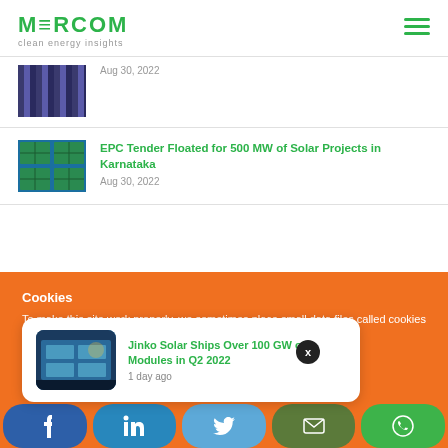MERCOM clean energy insights
[Figure (photo): Partial article thumbnail - striped pattern (solar panels or similar)]
Aug 30, 2022
[Figure (photo): Solar panel array from above - EPC Tender article thumbnail]
EPC Tender Floated for 500 MW of Solar Projects in Karnataka
Aug 30, 2022
Cookies
To make this site work properly, we sometimes place small data files called cookies on your device. Most big websites do this too.
[Figure (photo): Jinko Solar factory workers handling solar modules]
Jinko Solar Ships Over 100 GW of Modules in Q2 2022
1 day ago